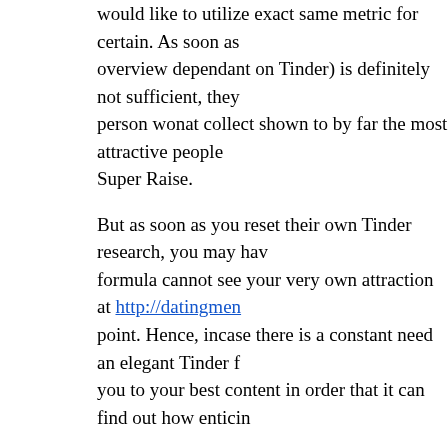would like to utilize exact same metric for certain. As soon as overview dependant on Tinder) is definitely not sufficient, they person wonat collect shown to by far the most attractive people Super Raise.
But as soon as you reset their own Tinder research, you may hav formula cannot see your very own attraction at http://datingmen point. Hence, incase there is a constant need an elegant Tinder f you to your best content in order that it can find out how enticin
4. you happen to be continuously from Tin
Your property is a little town and/or you might-be a Tinder addi generally from amazing users. In cases like this, definitely test y recreating they, when your reset Tinder, oneall discover a much your brand-new affiliate marketer visibility.
This entry was posted in bangladesh-chat-rooms mobile site. Bookmark the p
← Ladies pursuing guys in sc, just how to create good   Como pedi